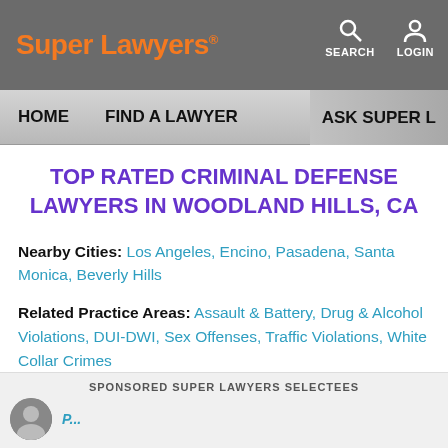Super Lawyers® | SEARCH | LOGIN
HOME  FIND A LAWYER  ASK SUPER L
TOP RATED CRIMINAL DEFENSE LAWYERS IN WOODLAND HILLS, CA
Nearby Cities:  Los Angeles, Encino, Pasadena, Santa Monica, Beverly Hills
Related Practice Areas:  Assault & Battery, Drug & Alcohol Violations, DUI-DWI, Sex Offenses, Traffic Violations, White Collar Crimes
SPONSORED SUPER LAWYERS SELECTEES